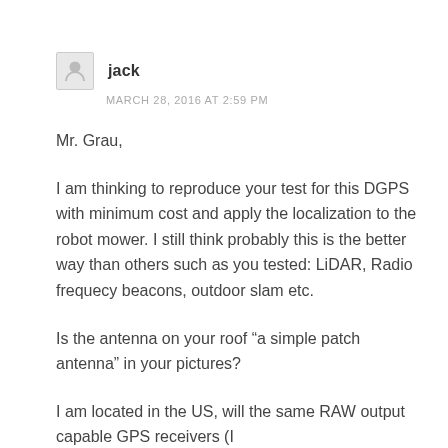jack
MARCH 28, 2016 AT 2:59 PM
Mr. Grau,
I am thinking to reproduce your test for this DGPS with minimum cost and apply the localization to the robot mower. I still think probably this is the better way than others such as you tested: LiDAR, Radio frequecy beacons, outdoor slam etc.
Is the antenna on your roof “a simple patch antenna” in your pictures?
I am located in the US, will the same RAW output capable GPS receivers (I